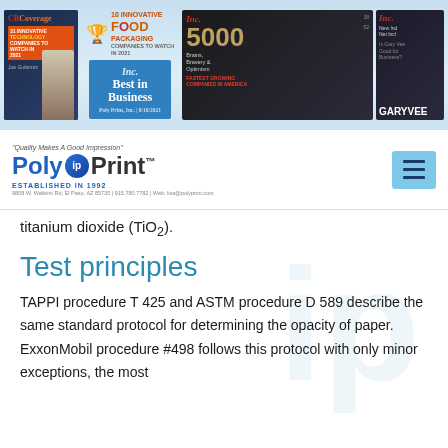[Figure (illustration): Header banner with magazine covers including CB Coverage, 10 Innovative Food Packaging Companies to Watch award, Inc. Best in Business badge, Inc. 5000 magazine cover, and Inc. magazine with Gary Vee cover]
[Figure (logo): Poly-IP-Print logo with tagline 'Quality Makes A Good Impression', established in 1992, with address details and hamburger menu button]
titanium dioxide (TiO2).
Test principles
TAPPI procedure T 425 and ASTM procedure D 589 describe the same standard protocol for determining the opacity of paper. ExxonMobil procedure #498 follows this protocol with only minor exceptions, the most